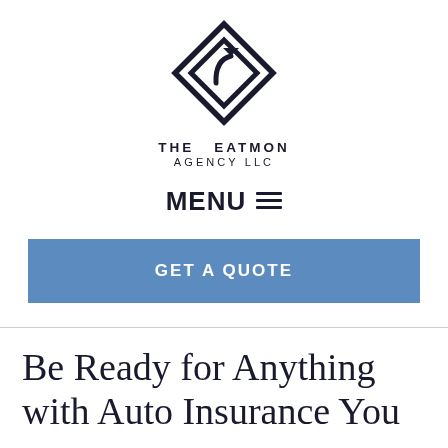[Figure (logo): The Eatmon Agency LLC logo: a diamond/square shape rotated 45 degrees with a spiral arrow inside, dark navy color]
THE EATMON AGENCY LLC
MENU ≡
GET A QUOTE
Be Ready for Anything with Auto Insurance You